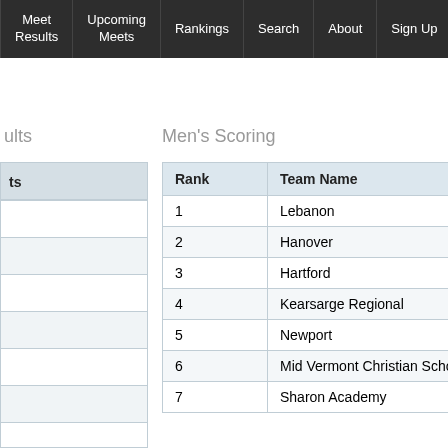Meet Results | Upcoming Meets | Rankings | Search | About | Sign Up
Date: 0…
ults
Men's Scoring
Women's (partial)
| Rank | Team Name | Score |
| --- | --- | --- |
| 1 | Lebanon | 210 |
| 2 | Hanover | 161 |
| 3 | Hartford | 53 |
| 4 | Kearsarge Regional | 24 |
| 5 | Newport | 12 |
| 6 | Mid Vermont Christian School | 3 |
| 7 | Sharon Academy | 1 |
| Rank |
| --- |
| 1 |
| 2 |
| 3 |
| 4 |
| 5 |
| 6 |
| 7 |